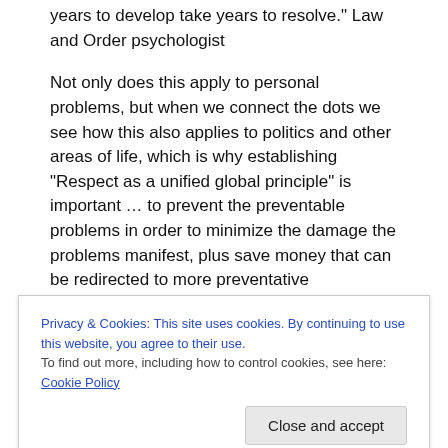years to develop take years to resolve." Law and Order psychologist
Not only does this apply to personal problems, but when we connect the dots we see how this also applies to politics and other areas of life, which is why establishing “Respect as a unified global principle” is important … to prevent the preventable problems in order to minimize the damage the problems manifest, plus save money that can be redirected to more preventative
Privacy & Cookies: This site uses cookies. By continuing to use this website, you agree to their use.
To find out more, including how to control cookies, see here: Cookie Policy
Close and accept
Specialist Writer Speaker Social Entrepreneur